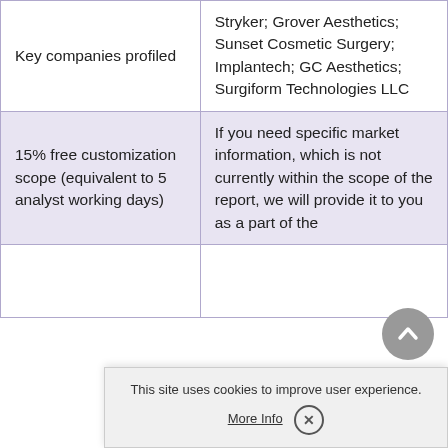|  |  |
| --- | --- |
| Key companies profiled | Stryker; Grover Aesthetics; Sunset Cosmetic Surgery; Implantech; GC Aesthetics; Surgiform Technologies LLC |
| 15% free customization scope (equivalent to 5 analyst working days) | If you need specific market information, which is not currently within the scope of the report, we will provide it to you as a part of the |
|  |  |